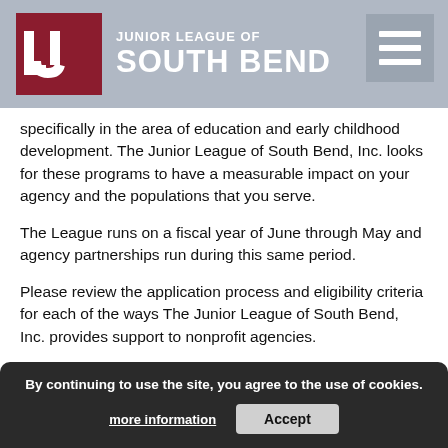Junior League of South Bend
specifically in the area of education and early childhood development. The Junior League of South Bend, Inc. looks for these programs to have a measurable impact on your agency and the populations that you serve.
The League runs on a fiscal year of June through May and agency partnerships run during this same period.
Please review the application process and eligibility criteria for each of the ways The Junior League of South Bend, Inc. provides support to nonprofit agencies.
Projects
During a one-year commitment to a partnering agency, The Junior League of South Bend, Inc. provides trained volunteers and funding to support the agency's program
By continuing to use the site, you agree to the use of cookies. more information  Accept